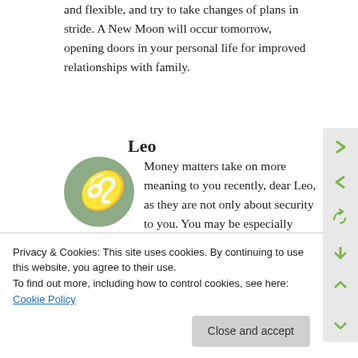and flexible, and try to take changes of plans in stride. A New Moon will occur tomorrow, opening doors in your personal life for improved relationships with family.
Leo
[Figure (illustration): Green circular icon with the Leo zodiac symbol (cursive m with a loop) in white]
Money matters take on more meaning to you recently, dear Leo, as they are not only about security to you. You may be especially
improvements you make. Opportunities to heal the
Privacy & Cookies: This site uses cookies. By continuing to use this website, you agree to their use.
To find out more, including how to control cookies, see here: Cookie Policy